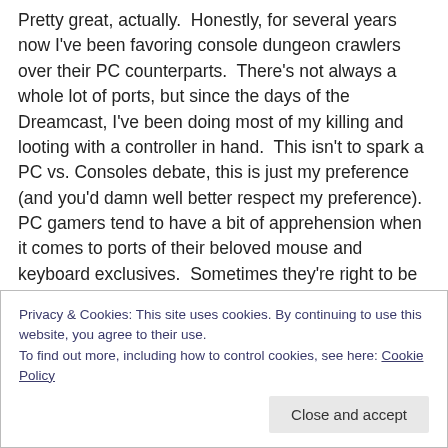Pretty great, actually.  Honestly, for several years now I've been favoring console dungeon crawlers over their PC counterparts.  There's not always a whole lot of ports, but since the days of the Dreamcast, I've been doing most of my killing and looting with a controller in hand.  This isn't to spark a PC vs. Consoles debate, this is just my preference (and you'd damn well better respect my preference).  PC gamers tend to have a bit of apprehension when it comes to ports of their beloved mouse and keyboard exclusives.  Sometimes they're right to be worried (typically, real-time
Privacy & Cookies: This site uses cookies. By continuing to use this website, you agree to their use.
To find out more, including how to control cookies, see here: Cookie Policy
Close and accept